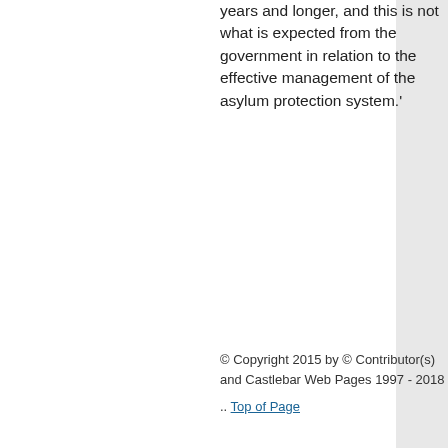years and longer, and this is not what is expected from the government in relation to the effective management of the asylum protection system.'
© Copyright 2015 by © Contributor(s) and Castlebar Web Pages 1997 - 2018
.. Top of Page